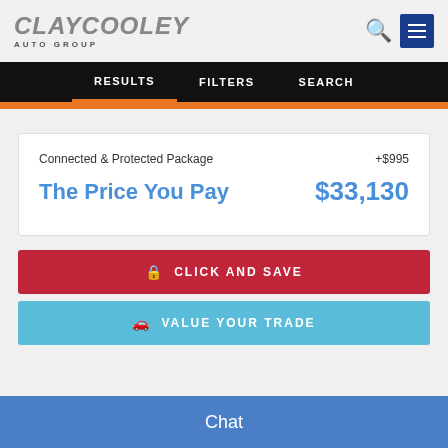ClayCooley Auto Group
RESULTS | FILTERS | SEARCH
Connected & Protected Package  +$995
The Price You Pay  $33,130
CLICK AND SAVE
VALUE YOUR TRADE
Chat